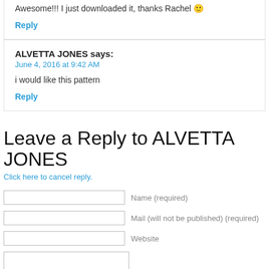Awesome!!! I just downloaded it, thanks Rachel 🙂
Reply
ALVETTA JONES says:
June 4, 2016 at 9:42 AM
i would like this pattern
Reply
Leave a Reply to ALVETTA JONES
Click here to cancel reply.
Name (required)
Mail (will not be published) (required)
Website